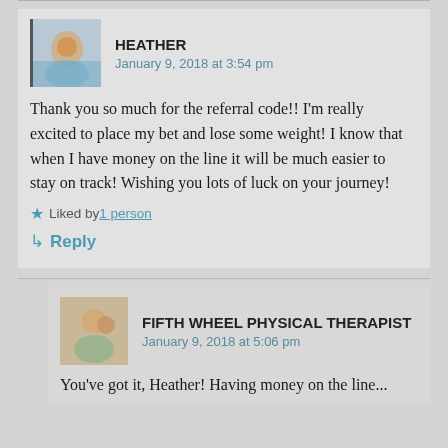HEATHER
January 9, 2018 at 3:54 pm
Thank you so much for the referral code!! I'm really excited to place my bet and lose some weight! I know that when I have money on the line it will be much easier to stay on track! Wishing you lots of luck on your journey!
Liked by 1 person
Reply
FIFTH WHEEL PHYSICAL THERAPIST
January 9, 2018 at 5:06 pm
You've got it, Heather! Having money on the line...